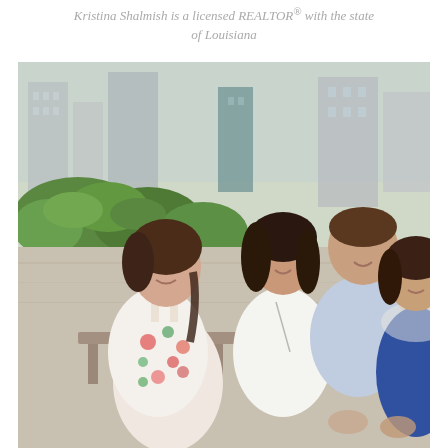Kristina Shalmish is a licensed REALTOR® with the state of Louisiana
[Figure (photo): Family photo of four people — an older girl in a floral dress, a woman in white, a man in a blue shirt, and a younger girl in a blue dress — seated outdoors with green hedges and city buildings in the background.]